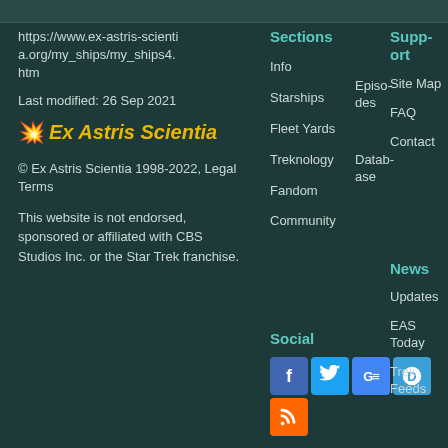https://www.ex-astris-scientia.org/my_ships/my_ships4.htm
Last modified: 26 Sep 2021
[Figure (logo): Ex Astris Scientia logo with star icon and italic bold yellow text]
© Ex Astris Scientia 1998-2022, Legal Terms
This website is not endorsed, sponsored or affiliated with CBS Studios Inc. or the Star Trek franchise.
Sections
Info
Starships
Fleet Yards
Treknology
Episodes
Databases
Fandom
Community
Support
Site Map
FAQ
Contact
Social
[Figure (infographic): Social media icons: Facebook, Twitter, Google+, Disqus, RSS]
News
Updates
EAS Today
Trek Feeds